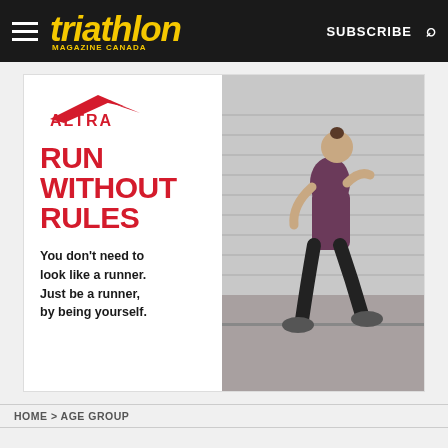triathlon MAGAZINE CANADA | SUBSCRIBE
[Figure (photo): Altra running shoes advertisement showing a woman running in front of a corrugated metal garage door. Left panel has Altra logo, red bold text 'RUN WITHOUT RULES' and body text 'You don't need to look like a runner. Just be a runner, by being yourself.']
HOME > AGE GROUP
Kona round-up: Top